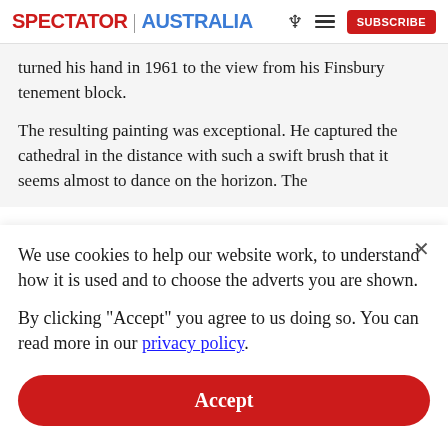SPECTATOR | AUSTRALIA
turned his hand in 1961 to the view from his Finsbury tenement block.

The resulting painting was exceptional. He captured the cathedral in the distance with such a swift brush that it seems almost to dance on the horizon. The
We use cookies to help our website work, to understand how it is used and to choose the adverts you are shown.
By clicking "Accept" you agree to us doing so. You can read more in our privacy policy.
Accept